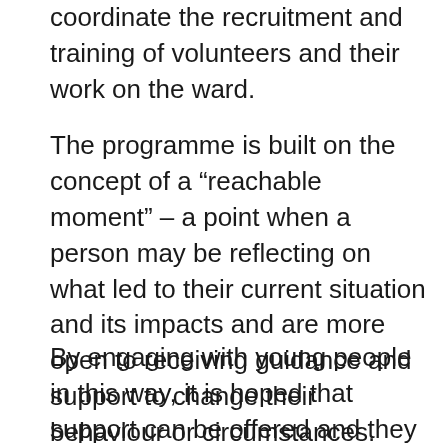coordinate the recruitment and training of volunteers and their work on the ward.
The programme is built on the concept of a “reachable moment” – a point when a person may be reflecting on what led to their current situation and its impacts and are more open to receiving guidance and support to change their behaviour or circumstances.
By engaging with young people in this way, it is hoped that support can be offered and they can be steered away from risk of further incidents or re-admission to hospital